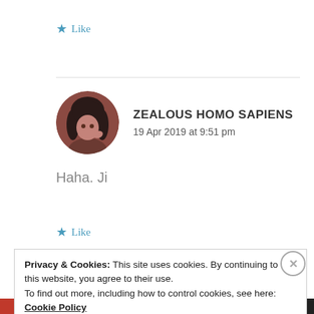★ Like
ZEALOUS HOMO SAPIENS
19 Apr 2019 at 9:51 pm
[Figure (photo): Circular avatar photo of a person with dark hair against a dark reddish-brown background]
Haha. Ji
★ Like
Privacy & Cookies: This site uses cookies. By continuing to use this website, you agree to their use.
To find out more, including how to control cookies, see here: Cookie Policy
Close and accept